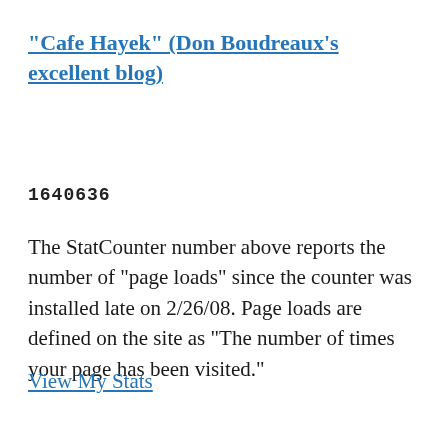"Cafe Hayek" (Don Boudreaux's excellent blog)
1640636
The StatCounter number above reports the number of "page loads" since the counter was installed late on 2/26/08. Page loads are defined on the site as "The number of times your page has been visited."
View My Stats